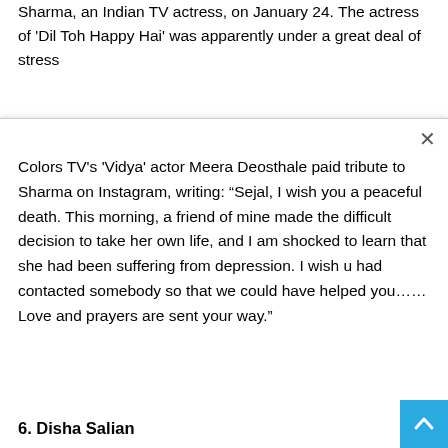Sharma, an Indian TV actress, on January 24. The actress of 'Dil Toh Happy Hai' was apparently under a great deal of stress
Colors TV's 'Vidya' actor Meera Deosthale paid tribute to Sharma on Instagram, writing: “Sejal, I wish you a peaceful death. This morning, a friend of mine made the difficult decision to take her own life, and I am shocked to learn that she had been suffering from depression. I wish u had contacted somebody so that we could have helped you…… Love and prayers are sent your way.”
6. Disha Salian